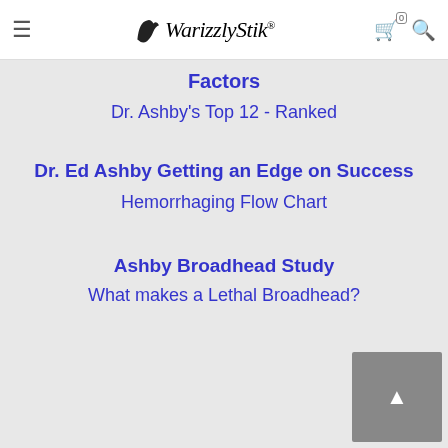WarizzlyStik
Factors
Dr. Ashby's Top 12 - Ranked
Dr. Ed Ashby Getting an Edge on Success
Hemorrhaging Flow Chart
Ashby Broadhead Study
What makes a Lethal Broadhead?